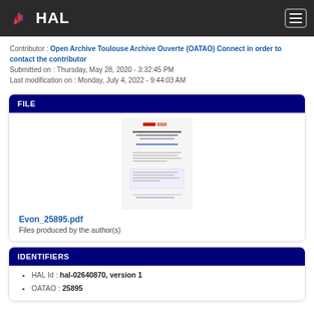HAL
Contributor : Open Archive Toulouse Archive Ouverte (OATAO) Connect in order to contact the contributor
Submitted on : Thursday, May 28, 2020 - 3:32:45 PM
Last modification on : Monday, July 4, 2022 - 9:44:03 AM
FILE
[Figure (other): PDF document preview thumbnail showing the first page of Evon_25895.pdf]
Evon_25895.pdf
Files produced by the author(s)
IDENTIFIERS
HAL Id : hal-02640870, version 1
OATAO : 25895